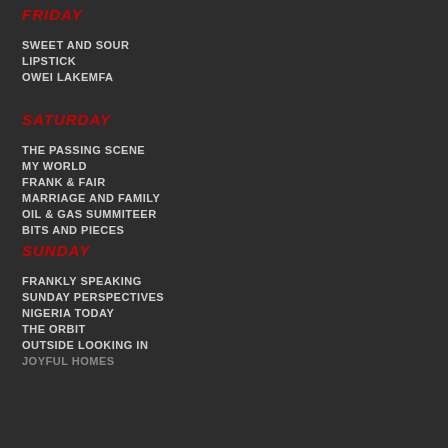FRIDAY
SWEET AND SOUR
LIPSTICK
OWEI LAKEMFA
SATURDAY
THE PASSING SCENE
MY WORLD
FRANK & FAIR
MARRIAGE AND FAMILY
OIL & GAS SUMMITEER
BITS AND PIECES
SUNDAY
FRANKLY SPEAKING
SUNDAY PERSPECTIVES
NIGERIA TODAY
THE ORBIT
OUTSIDE LOOKING IN
JOYFUL HOMES